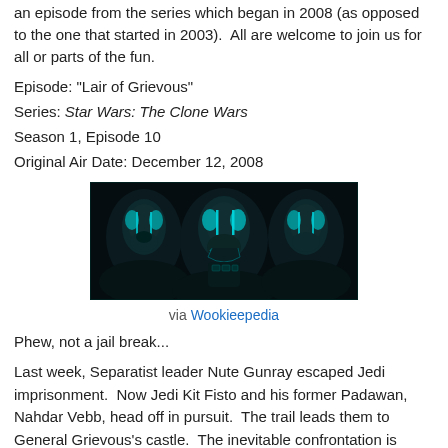an episode from the series which began in 2008 (as opposed to the one that started in 2003).  All are welcome to join us for all or parts of the fun.
Episode: "Lair of Grievous"
Series: Star Wars: The Clone Wars
Season 1, Episode 10
Original Air Date: December 12, 2008
[Figure (photo): Dark sci-fi image showing three views of General Grievous, a robotic villain character from Star Wars: The Clone Wars, rendered in dark teal/cyan tones against a black background.]
via Wookieepedia
Phew, not a jail break...
Last week, Separatist leader Nute Gunray escaped Jedi imprisonment.  Now Jedi Kit Fisto and his former Padawan, Nahdar Vebb, head off in pursuit.  The trail leads them to General Grievous's castle.  The inevitable confrontation is stooped in significance for both sides.  GG, after numerous